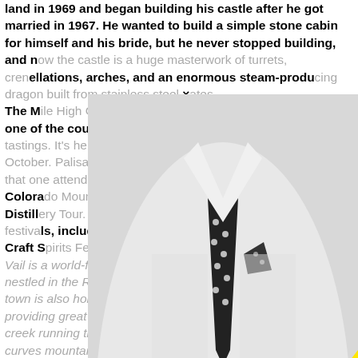land in 1969 and began building his castle after he got married in 1967. He wanted to build a simple stone cabin for himself and his bride, but he never stopped building, and now the castle is a huge masterwork of turrets, crenellations, arches, and an enormous steam-producing dragon built from stainless steel gates. The Mile High City boasts the Great American Beer Festival, one of the country's largest gathering of brewers and beer tastings. It's held over three days in late September / early October. Palisade is Colorado's wine capital, so it's only fitting that one attend the Colorado Mountain Winefest. Colorado also has a Distillery Tour. Then there are many other wonderful festivals, including the Breckenridge Music Festival, Breckenridge Craft Spirits Festival... Vail is a world-famous ski resort nestled in the Rocky Mountains. This picturesque town is also home to some wonderful restaurants, also providing great shopping, entertainment. Vail also has a creek running through the town, and a breathtaking curved mountain road offering views of the surrounding region. The Mile High City boasts the Great American Beer Festival, one of the country's largest gathering of brewers and beer tastings. It's held over three days in late September / early October. Palisade is Colorado's wine capital, so it's only fitting that one attend the
[Figure (photo): Black and white photo of a man in a white dress shirt with a black polka dot tie and matching pocket square, overlaid with a large bright yellow triangle shape]